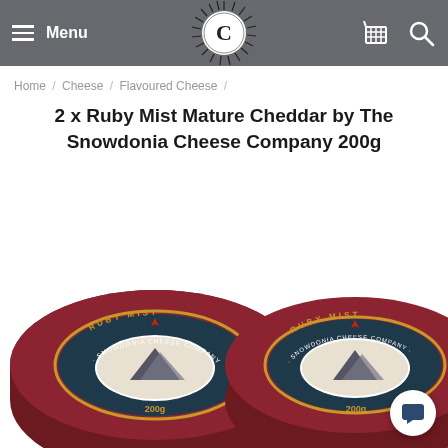Menu | [logo] | [cart] [search]
Home / Cheese / Flavoured Cheese /
2 x Ruby Mist Mature Cheddar by The Snowdonia Cheese Company 200g
[Figure (photo): Two cylindrical wax-coated Ruby Mist Mature Cheddar cheeses by The Snowdonia Cheese Company, each 200g, viewed from above showing dark maroon wax coating and circular label reading 'Ruby Mist Snowdonia Cheese Company – Mature Cheddar with Port & Brandy, 200g']